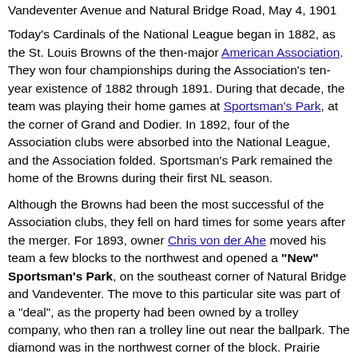Vandeventer Avenue and Natural Bridge Road, May 4, 1901
Today's Cardinals of the National League began in 1882, as the St. Louis Browns of the then-major American Association. They won four championships during the Association's ten-year existence of 1882 through 1891. During that decade, the team was playing their home games at Sportsman's Park, at the corner of Grand and Dodier. In 1892, four of the Association clubs were absorbed into the National League, and the Association folded. Sportsman's Park remained the home of the Browns during their first NL season.
Although the Browns had been the most successful of the Association clubs, they fell on hard times for some years after the merger. For 1893, owner Chris von der Ahe moved his team a few blocks to the northwest and opened a "New" Sportsman's Park, on the southeast corner of Natural Bridge and Vandeventer. The move to this particular site was part of a "deal", as the property had been owned by a trolley company, who then ran a trolley line out near the ballpark. The diamond was in the northwest corner of the block. Prairie Avenue was the east (left field) border. Right field, the shorter of the outfields, was bordered by Lexington Avenue.
The ballpark was generations ahead of its time in some ways. Along with the basic stands, Von der Ahe had built an adjoining amusement park, a beer garden, a race track in the outfield, a "shoot-the-shoots" water flume ride, and an artificial lake (used for